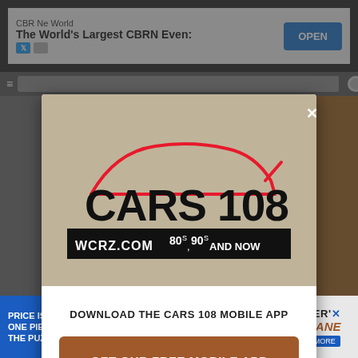[Figure (screenshot): Top advertisement banner showing 'CBR Ne World - The World's Largest CBRN Even:' with blue OPEN button]
[Figure (screenshot): Modal popup dialog with Cars 108 WCRZ.COM 80s 90s and NOW logo at top on tan background, white modal body below]
DOWNLOAD THE CARS 108 MOBILE APP
GET OUR FREE MOBILE APP
Also listen on:  amazon alexa
[Figure (screenshot): Bottom advertisement bar with Parker's puzzle ad and Parker Propane ad]